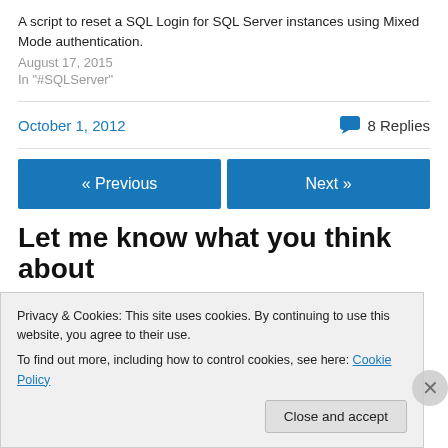A script to reset a SQL Login for SQL Server instances using Mixed Mode authentication.
August 17, 2015
In "#SQLServer"
October 1, 2012
8 Replies
« Previous
Next »
Let me know what you think about
Privacy & Cookies: This site uses cookies. By continuing to use this website, you agree to their use.
To find out more, including how to control cookies, see here: Cookie Policy
Close and accept